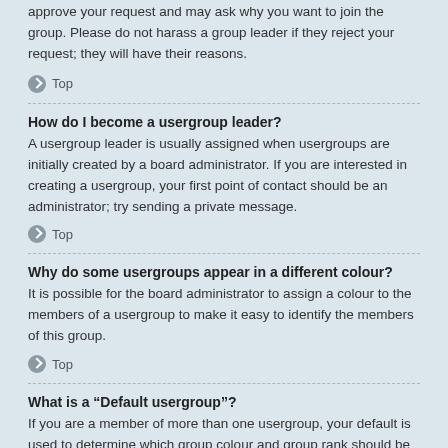approve your request and may ask why you want to join the group. Please do not harass a group leader if they reject your request; they will have their reasons.
Top
How do I become a usergroup leader?
A usergroup leader is usually assigned when usergroups are initially created by a board administrator. If you are interested in creating a usergroup, your first point of contact should be an administrator; try sending a private message.
Top
Why do some usergroups appear in a different colour?
It is possible for the board administrator to assign a colour to the members of a usergroup to make it easy to identify the members of this group.
Top
What is a “Default usergroup”?
If you are a member of more than one usergroup, your default is used to determine which group colour and group rank should be shown for you by default. The board administrator may grant you permission to change your default usergroup via your User Control Panel.